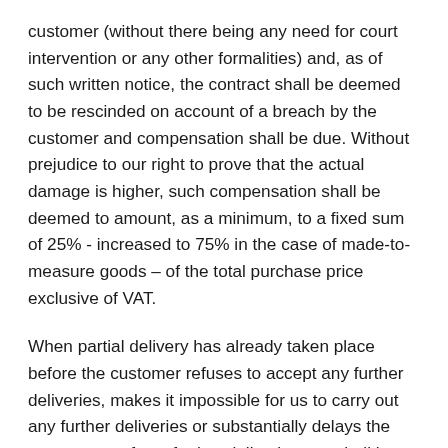customer (without there being any need for court intervention or any other formalities) and, as of such written notice, the contract shall be deemed to be rescinded on account of a breach by the customer and compensation shall be due. Without prejudice to our right to prove that the actual damage is higher, such compensation shall be deemed to amount, as a minimum, to a fixed sum of 25% - increased to 75% in the case of made-to-measure goods – of the total purchase price exclusive of VAT.
When partial delivery has already taken place before the customer refuses to accept any further deliveries, makes it impossible for us to carry out any further deliveries or substantially delays the acceptance of any further deliveries, we shall be entitled to invoice the customer for the part of the delivery already made and to terminate the part of the contract relating to the deliveries that have not yet been made, based on written notice to the customer, without